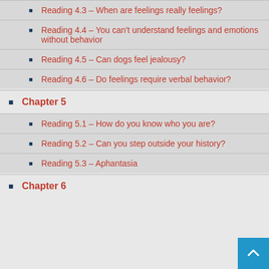Reading 4.3 – When are feelings really feelings?
Reading 4.4 – You can't understand feelings and emotions without behavior
Reading 4.5 – Can dogs feel jealousy?
Reading 4.6 – Do feelings require verbal behavior?
Chapter 5
Reading 5.1 – How do you know who you are?
Reading 5.2 – Can you step outside your history?
Reading 5.3 – Aphantasia
Chapter 6